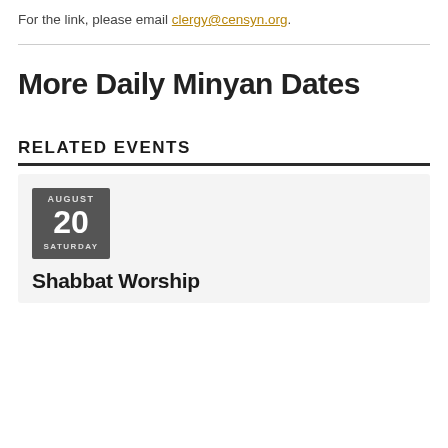For the link, please email clergy@censyn.org.
More Daily Minyan Dates
RELATED EVENTS
AUGUST 20 SATURDAY
Shabbat Worship